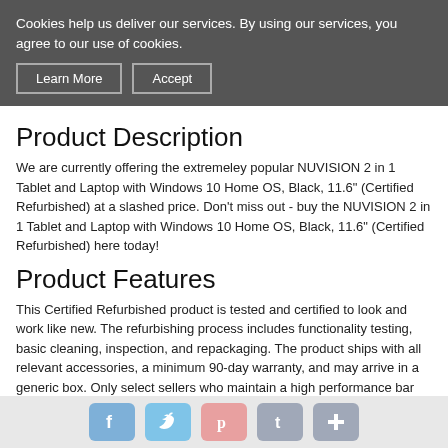Cookies help us deliver our services. By using our services, you agree to our use of cookies.
Learn More | Accept
Product Description
We are currently offering the extremeley popular NUVISION 2 in 1 Tablet and Laptop with Windows 10 Home OS, Black, 11.6" (Certified Refurbished) at a slashed price. Don't miss out - buy the NUVISION 2 in 1 Tablet and Laptop with Windows 10 Home OS, Black, 11.6" (Certified Refurbished) here today!
Product Features
This Certified Refurbished product is tested and certified to look and work like new. The refurbishing process includes functionality testing, basic cleaning, inspection, and repackaging. The product ships with all relevant accessories, a minimum 90-day warranty, and may arrive in a generic box. Only select sellers who maintain a high performance bar may offer Certified Refurbished products on Amazon.com DUAL USE WITH DETACHABLE KEYBOARD: Use as Tablet or as a Laptop PC. Tablet magnetically connects to Keyboard BRILLIANT DISPLAY & DUAL CAMERAS: 11.6 inch screen with a brilliant IPS Full HD 1920 x 1080 Display, 2 MP Front Camera, 5 MP Rear Camera CONNECT ALL YOUR DEVICES: &